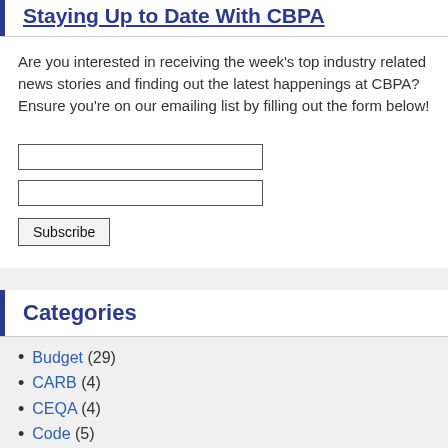Staying Up to Date With CBPA
Are you interested in receiving the week's top industry related news stories and finding out the latest happenings at CBPA? Ensure you're on our emailing list by filling out the form below!
[Figure (other): Email subscription form with two text input fields and a Subscribe button]
Categories
Budget (29)
CARB (4)
CEQA (4)
Code (5)